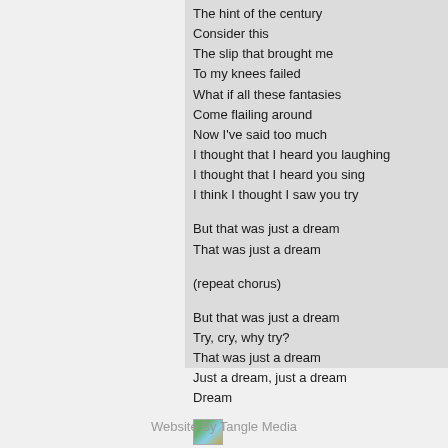The hint of the century
Consider this
The slip that brought me
To my knees failed
What if all these fantasies
Come flailing around
Now I've said too much
I thought that I heard you laughing
I thought that I heard you sing
I think I thought I saw you try

But that was just a dream
That was just a dream

(repeat chorus)

But that was just a dream
Try, cry, why try?
That was just a dream
Just a dream, just a dream
Dream
[Figure (illustration): Small image icon (broken/placeholder image)]
audio sample - (may require iTunes)
Website By Tangle Media